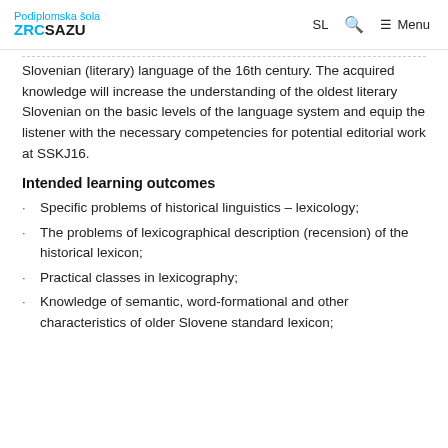Podiplomska šola ZRC SAZU | SL | Search | Menu
Slovenian (literary) language of the 16th century. The acquired knowledge will increase the understanding of the oldest literary Slovenian on the basic levels of the language system and equip the listener with the necessary competencies for potential editorial work at SSKJ16.
Intended learning outcomes
Specific problems of historical linguistics – lexicology;
The problems of lexicographical description (recension) of the historical lexicon;
Practical classes in lexicography;
Knowledge of semantic, word-formational and other characteristics of older Slovene standard lexicon;